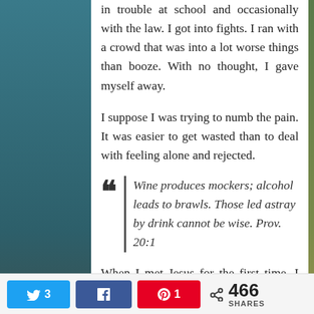in trouble at school and occasionally with the law. I got into fights. I ran with a crowd that was into a lot worse things than booze. With no thought, I gave myself away.
I suppose I was trying to numb the pain. It was easier to get wasted than to deal with feeling alone and rejected.
“Wine produces mockers; alcohol leads to brawls. Those led astray by drink cannot be wise. Prov. 20:1
When I met Jesus for the first time, I mean really met him, I decided I needed him. I knew I needed his forgiveness. I knew I needed his healing. So I resigned my will, my ways, my
3  [twitter share]  [facebook share]  1 [pinterest share]  466 SHARES